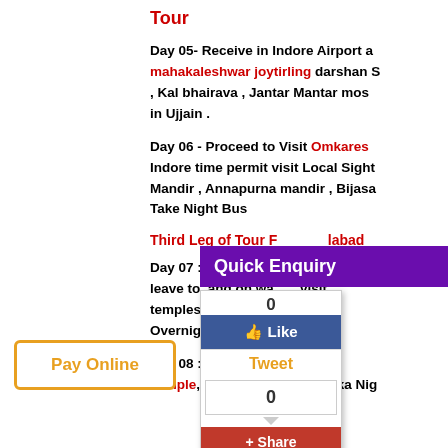Tour
Day 05- Receive in Indore Airport a mahakaleshwar joytirling darshan S , Kal bhairava , Jantar Mantar mos in Ujjain .
Day 06 - Proceed to Visit Omkares Indore time permit visit Local Sight Mandir , Annapurna mandir , Bijasa Take Night Bus
[Figure (screenshot): Quick Enquiry purple banner overlay]
Third Leg of Tour F ... labad
[Figure (infographic): Social media widget showing Like count 0, Tweet in orange, share count 0, and Share button in red]
Day 07 : Morning p Dwar leave to, and on wa visit temples on Costa nd Overnight stay at th arka
Day 08 :- Morning & p Temple, Gopi Talav, Bet Dwarka Nig
[Figure (infographic): Pay Online button with orange border]